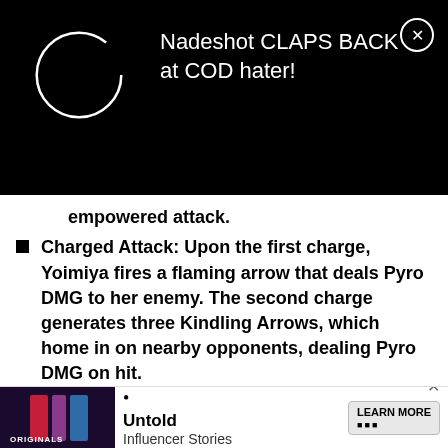[Figure (screenshot): Black banner advertisement showing a circular logo placeholder and text 'Nadeshot CLAPS BACK at COD hater!' with a close (X) button in the top-right corner.]
empowered attack.
Charged Attack: Upon the first charge, Yoimiya fires a flaming arrow that deals Pyro DMG to her enemy. The second charge generates three Kindling Arrows, which home in on nearby opponents, dealing Pyro DMG on hit.
Plunging Attack: While airborne, Yoimiya fires a volley of arrows into the air before striking the ground, dealing AoE DMG to all nearby opponents.
Yoimiya's Normal Attack is the crux of her kit. While some … ust
[Figure (screenshot): Bottom advertisement banner showing Originals logo, bullet point, 'Untold Influencer Stories' text, and 'LEARN MORE' button with close X.]